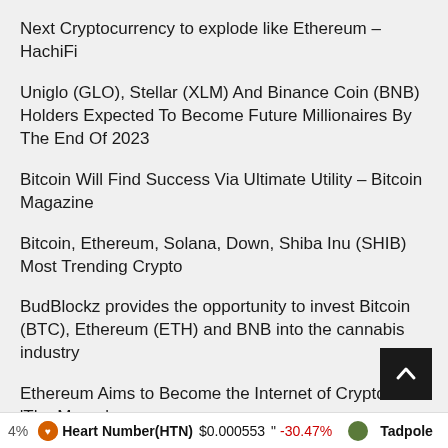Next Cryptocurrency to explode like Ethereum – HachiFi
Uniglo (GLO), Stellar (XLM) And Binance Coin (BNB) Holders Expected To Become Future Millionaires By The End Of 2023
Bitcoin Will Find Success Via Ultimate Utility – Bitcoin Magazine
Bitcoin, Ethereum, Solana, Down, Shiba Inu (SHIB) Most Trending Crypto
BudBlockz provides the opportunity to invest Bitcoin (BTC), Ethereum (ETH) and BNB into the cannabis industry
Ethereum Aims to Become the Internet of Crypto With 'The Merge'
Inflationary Bear Market Spells Trouble – Bitcoin
4%   Heart Number(HTN)  $0.000553  " -30.47%    Tadpole